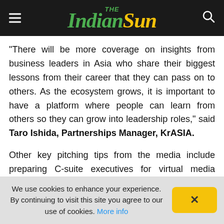The Indian Sun
"There will be more coverage on insights from business leaders in Asia who share their biggest lessons from their career that they can pass on to others. As the ecosystem grows, it is important to have a platform where people can learn from others so they can grow into leadership roles," said Taro Ishida, Partnerships Manager, KrASIA.
Other key pitching tips from the media include preparing C-suite executives for virtual media interviews, providing data-rich press materials as well as paying attention to key metrics to measure the success and impact of stories.
We use cookies to enhance your experience. By continuing to visit this site you agree to our use of cookies. More info